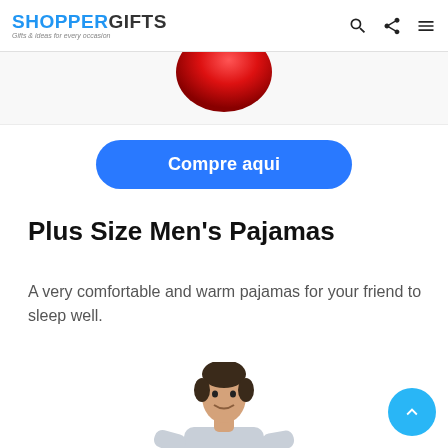SHOPPERGIFTS — Gifts & ideas for every occasion
[Figure (photo): Top portion of a red round object (partially cropped at top of page)]
Compre aqui
Plus Size Men's Pajamas
A very comfortable and warm pajamas for your friend to sleep well.
[Figure (photo): Man wearing light grey pajamas, smiling, standing, partially cropped at bottom of page]